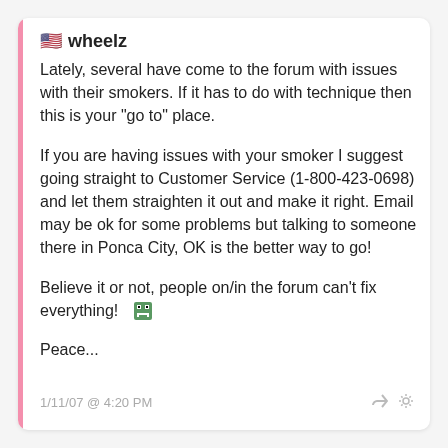wheelz
Lately, several have come to the forum with issues with their smokers. If it has to do with technique then this is your "go to" place.
If you are having issues with your smoker I suggest going straight to Customer Service (1-800-423-0698) and let them straighten it out and make it right. Email may be ok for some problems but talking to someone there in Ponca City, OK is the better way to go!
Believe it or not, people on/in the forum can't fix everything! 🎭
Peace...
1/11/07 @ 4:20 PM